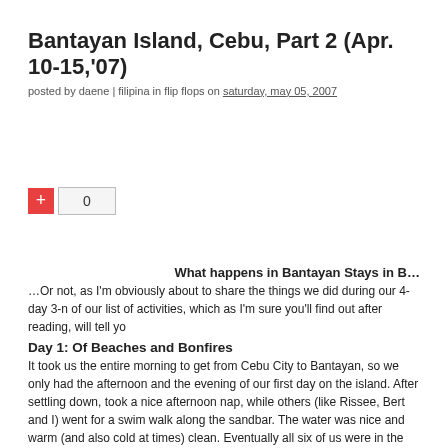Bantayan Island, Cebu, Part 2 (Apr. 10-15,'07)
posted by daene | filipina in flip flops on saturday, may 05, 2007
[Figure (other): Vote/like widget: red plus button and count box showing 0]
What happens in Bantayan Stays in B…
…Or not, as I'm obviously about to share the things we did during our 4-day 3-n of our list of activities, which as I'm sure you'll find out after reading, will tell yo
Day 1: Of Beaches and Bonfires
It took us the entire morning to get from Cebu City to Bantayan, so we only had the afternoon and the evening of our first day on the island. After settling down, took a nice afternoon nap, while others (like Rissee, Bert and I) went for a swim walk along the sandbar. The water was nice and warm (and also cold at times) clean. Eventually all six of us were in the water, where we stayed until sunset.
That evening we had our first massive dinner of fried fish, pork, and shellfish (t like oysters but not quite, hehe), courtesy of Kuya Remy, whose wife also made that we put on everything - it was made of soy sauce, tomatoes, and onions. And